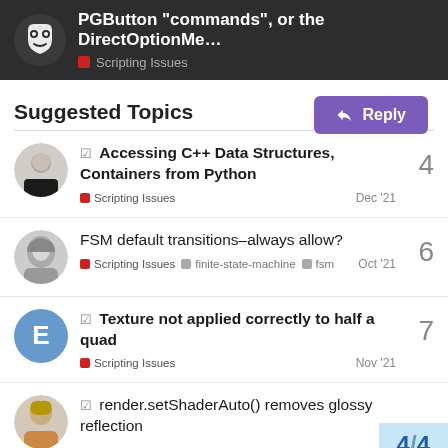PGButton "commands", or the DirectOptionMe... | Scripting Issues
Suggested Topics
Accessing C++ Data Structures, Containers from Python | Scripting Issues | Dec '21 | 4 replies
FSM default transitions–always allow? | Scripting Issues | finite-state-machine | fsm | Oct '21 | 6 replies
Texture not applied correctly to half a quad | Scripting Issues | Nov '21 | 7 replies
render.setShaderAuto() removes glossy reflection | 4/4